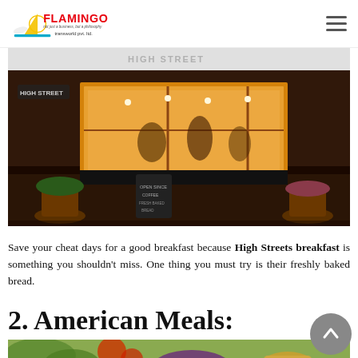Flamingo Transworld Pvt. Ltd.
[Figure (photo): Exterior night view of High Street restaurant with warm yellow lighting, plants outside, and people visible through the window. A sandwich board sign is in the foreground.]
Save your cheat days for a good breakfast because High Streets breakfast is something you shouldn't miss. One thing you must try is their freshly baked bread.
2. American Meals:
[Figure (photo): Partial view of food, showing vegetables and dishes, partially cropped at bottom of page.]